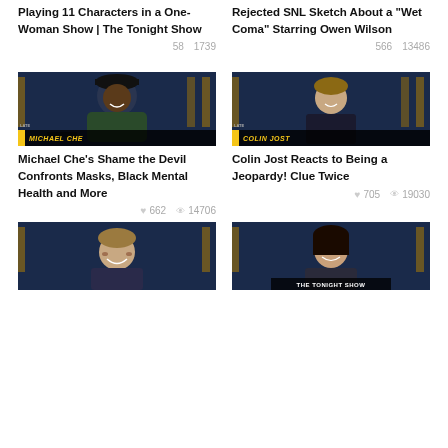Playing 11 Characters in a One-Woman Show | The Tonight Show
♥ 58  👁 1739
Rejected SNL Sketch About a "Wet Coma" Starring Owen Wilson
♥ 566  👁 13486
[Figure (photo): Michael Che on a late night show set with blue background, name bar reading MICHAEL CHE]
Michael Che's Shame the Devil Confronts Masks, Black Mental Health and More
♥ 662  👁 14706
[Figure (photo): Colin Jost on a late night show set with blue background, name bar reading COLIN JOST]
Colin Jost Reacts to Being a Jeopardy! Clue Twice
♥ 705  👁 19030
[Figure (photo): Colin Jost smiling, late night show set]
[Figure (photo): Woman smiling, The Tonight Show banner at bottom]